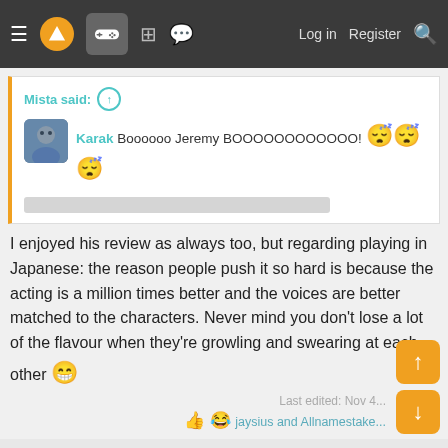Navigation bar with hamburger menu, logo, gamepad icon, forum icons, Log in, Register, Search
Mista said: ↑
Karak Boooooo Jeremy BOOOOOOOOOOOO! 😴😴😴
I enjoyed his review as always too, but regarding playing in Japanese: the reason people push it so hard is because the acting is a million times better and the voices are better matched to the characters. Never mind you don't lose a lot of the flavour when they're growling and swearing at each other 😁
Last edited: Nov 4...
👍 😂 jaysius and Allnamestake...